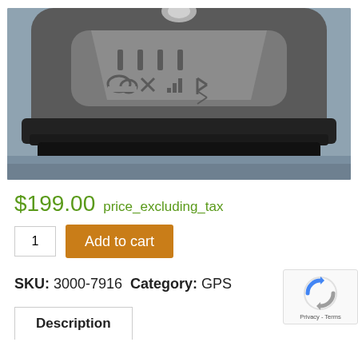[Figure (photo): Close-up photo of a rugged GPS device showing the bottom face with embossed status icons (cloud, GPS cross, signal bars, Bluetooth) and textured black rubber bumper edging.]
$199.00 price_excluding_tax
1  Add to cart
SKU: 3000-7916 Category: GPS
Description